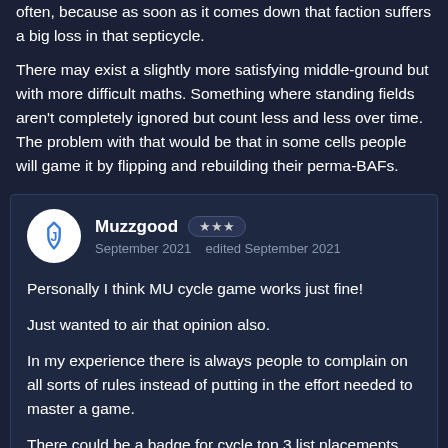often, because as soon as it comes down that faction suffers a big loss in that septicycle.
There may exist a slightly more satisfying middle-ground but with more difficult maths. Something where standing fields aren't completely ignored but count less and less over time. The problem with that would be that in some cells people will game it by flipping and rebuilding their perma-BAFs.
Muzzgood ★★★ September 2021  edited September 2021
Personally I think MU cycle game works just fine!
Just wanted to air that opinion also.
In my experience there is always people to complain on all sorts of rules instead of putting in the effort needed to master a game.
There could be a badge for cycle top 3 list placements that an agent each checkpoint gets score if on the list 1st 2nd or 3rd